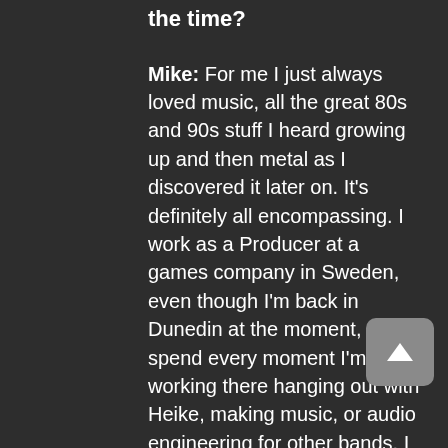the time?
Mike: For me I just always loved music, all the great 80s and 90s stuff I heard growing up and then metal as I discovered it later on. It's definitely all encompassing. I work as a Producer at a games company in Sweden, even though I'm back in Dunedin at the moment, and I spend every moment I'm not working there hanging out with Heike, making music, or audio engineering for other bands. I find the time by not sleeping nearly as much as I should ha-ha.
Heike: Can confirm. I nag Mike often about his lack of sleep! Totally denying that I do the same of course. I